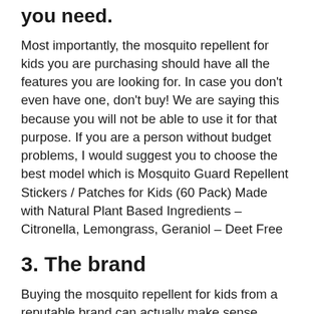you need.
Most importantly, the mosquito repellent for kids you are purchasing should have all the features you are looking for. In case you don't even have one, don't buy! We are saying this because you will not be able to use it for that purpose. If you are a person without budget problems, I would suggest you to choose the best model which is Mosquito Guard Repellent Stickers / Patches for Kids (60 Pack) Made with Natural Plant Based Ingredients – Citronella, Lemongrass, Geraniol – Deet Free
3. The brand
Buying the mosquito repellent for kids from a reputable brand can actually make sense